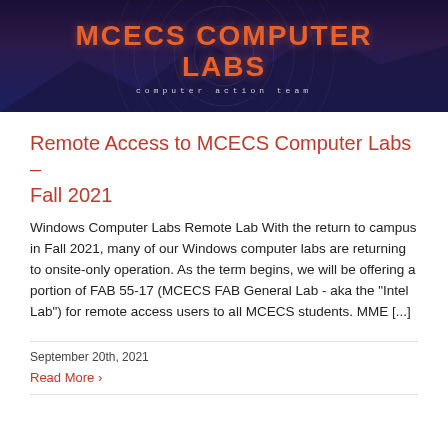[Figure (photo): MCECS Computer Labs banner with dark cosmic/mountain background, orange text reading 'MCECS COMPUTER LABS' and subtitle 'computer action team']
Remote Access to MCECS Computer Labs – Fall 2021
Windows Computer Labs Remote Lab With the return to campus in Fall 2021, many of our Windows computer labs are returning to onsite-only operation. As the term begins, we will be offering a portion of FAB 55-17 (MCECS FAB General Lab - aka the "Intel Lab") for remote access users to all MCECS students. MME [...]
September 20th, 2021
Read More >